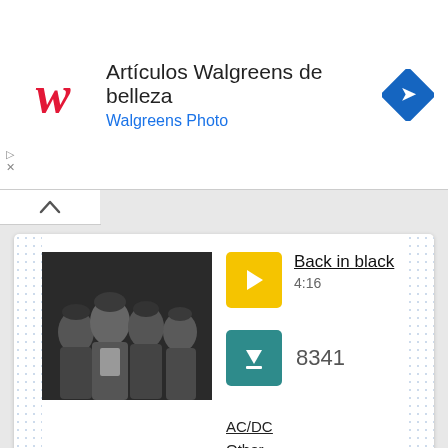[Figure (screenshot): Walgreens ad banner with red script W logo, text 'Artículos Walgreens de belleza' and 'Walgreens Photo', blue diamond navigation icon on right]
[Figure (screenshot): Music app card showing AC/DC band black and white photo, song 'Back in black' 4:16, download count 8341, artist AC/DC, genre Other]
[Figure (screenshot): Music app card showing female artist photo, song 'New Rules' 3:32, download count 16203]